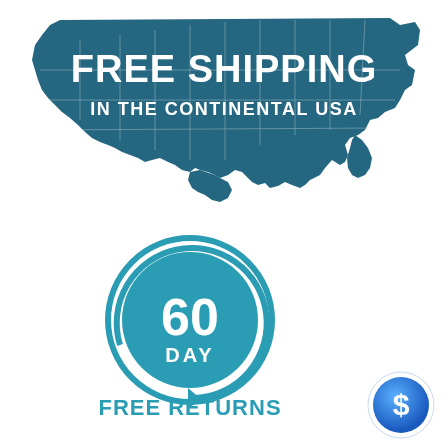[Figure (infographic): Map of the continental USA in dark teal color with text FREE SHIPPING IN THE CONTINENTAL USA overlaid in white bold letters]
[Figure (infographic): Circular arrow icon in teal showing '60 DAY' in center with 'FREE RETURNS' text below in teal]
[Figure (infographic): Small blue circular badge with a dollar sign icon in bottom right corner]